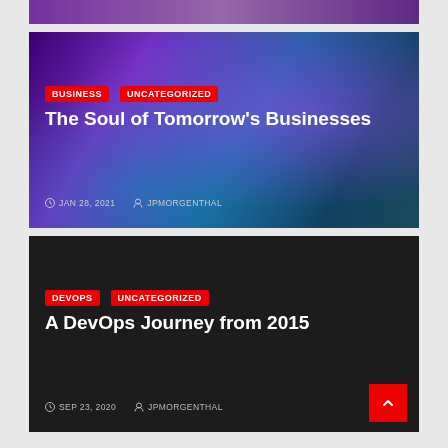[Figure (photo): Top strip — cropped portion of a purple/blue abstract image]
[Figure (photo): Card with purple/blue glowing bokeh background and a silhouette figure]
BUSINESS
UNCATEGORIZED
The Soul of Tomorrow's Businesses
JAN 28, 2021   JPMORGENTHAL
[Figure (photo): Card with dark/black background — DevOps article]
DEVOPS
UNCATEGORIZED
A DevOps Journey from 2015
SEP 23, 2020   JPMORGENTHAL